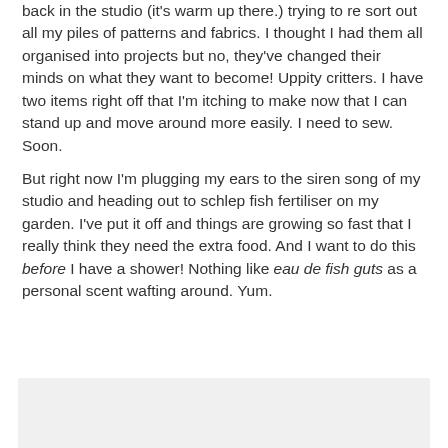back in the studio (it's warm up there.) trying to re sort out all my piles of patterns and fabrics. I thought I had them all organised into projects but no, they've changed their minds on what they want to become! Uppity critters. I have two items right off that I'm itching to make now that I can stand up and move around more easily. I need to sew. Soon.
But right now I'm plugging my ears to the siren song of my studio and heading out to schlep fish fertiliser on my garden. I've put it off and things are growing so fast that I really think they need the extra food. And I want to do this before I have a shower! Nothing like eau de fish guts as a personal scent wafting around. Yum.
[Figure (other): Gray rectangular box, likely a comment input area or image placeholder]
7 comments:
Susan  6/13/2015 6:25 pm
hey Louisa...